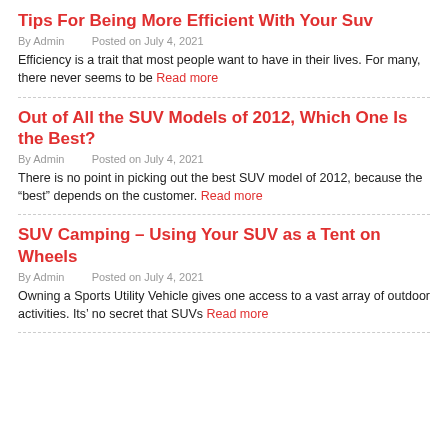Tips For Being More Efficient With Your Suv
By Admin   Posted on July 4, 2021
Efficiency is a trait that most people want to have in their lives. For many, there never seems to be Read more
Out of All the SUV Models of 2012, Which One Is the Best?
By Admin   Posted on July 4, 2021
There is no point in picking out the best SUV model of 2012, because the “best” depends on the customer. Read more
SUV Camping – Using Your SUV as a Tent on Wheels
By Admin   Posted on July 4, 2021
Owning a Sports Utility Vehicle gives one access to a vast array of outdoor activities. Its’ no secret that SUVs Read more